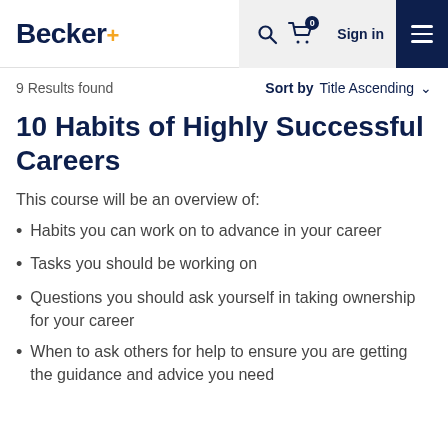Becker. [navigation bar with search, cart, Sign in, menu]
9 Results found   Sort by   Title Ascending
10 Habits of Highly Successful Careers
This course will be an overview of:
Habits you can work on to advance in your career
Tasks you should be working on
Questions you should ask yourself in taking ownership for your career
When to ask others for help to ensure you are getting the guidance and advice you need